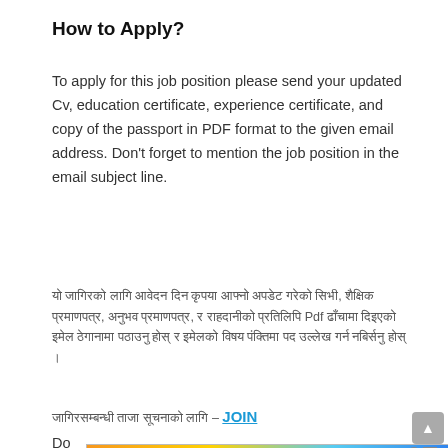How to Apply?
To apply for this job position please send your updated Cv, education certificate, experience certificate, and copy of the passport in PDF format to the given email address. Don't forget to mention the job position in the email subject line.
यो जागिरको लागि आवेदन दिन कृपया आफ्नो अपडेट गरेको सिभी, शैक्षिक प्रमाणपत्र, अनुभव प्रमाणपत्र, र राहदानीको प्रतिलिपि Pdf ढाँचामा दिइएको इमेल ठेगानामा पठाउनु होस् र इमेलको विषय पंक्तिमा पद उल्लेख गर्न नबिर्सनु होस् ।
जागिरसम्बन्धी ताजा सूचनाको लागि – JOIN
[Figure (screenshot): Advertisement banner: 'WHEN REAL LIFE IS QUARANTINED' with BitLife logo and emoji icons]
Do